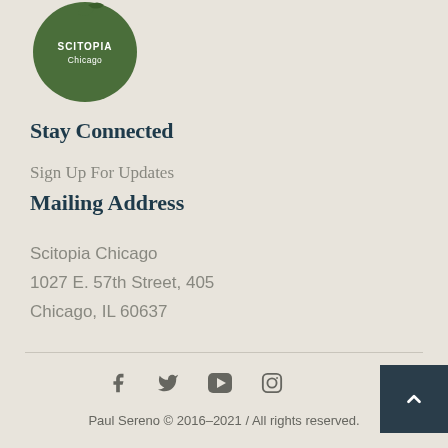[Figure (logo): Scitopia Chicago logo — dark green silhouette of a head with bird and text 'SCITOPIA Chicago']
Stay Connected
Sign Up For Updates
Mailing Address
Scitopia Chicago
1027 E. 57th Street, 405
Chicago, IL 60637
[Figure (infographic): Social media icons: Facebook, Twitter, YouTube, Instagram]
Paul Sereno © 2016–2021 / All rights reserved.